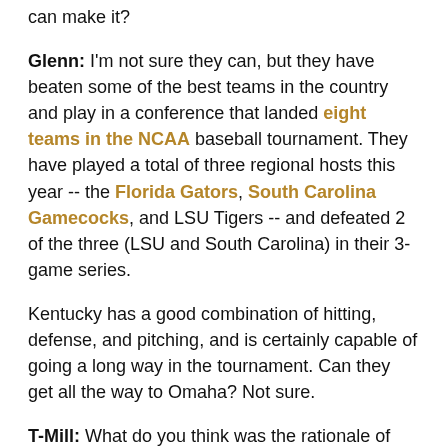can make it?
Glenn: I'm not sure they can, but they have beaten some of the best teams in the country and play in a conference that landed eight teams in the NCAA baseball tournament. They have played a total of three regional hosts this year -- the Florida Gators, South Carolina Gamecocks, and LSU Tigers -- and defeated 2 of the three (LSU and South Carolina) in their 3-game series.
Kentucky has a good combination of hitting, defense, and pitching, and is certainly capable of going a long way in the tournament. Can they get all the way to Omaha? Not sure.
T-Mill: What do you think was the rationale of the